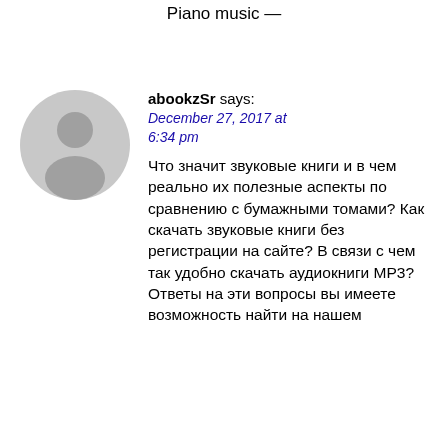Piano music —
[Figure (illustration): Gray circular avatar placeholder with silhouette of a person]
abookzSr says:
December 27, 2017 at 6:34 pm
Что значит звуковые книги и в чем реально их полезные аспекты по сравнению с бумажными томами? Как скачать звуковые книги без регистрации на сайте? В связи с чем так удобно скачать аудиокниги MP3? Ответы на эти вопросы вы имеете возможность найти на нашем